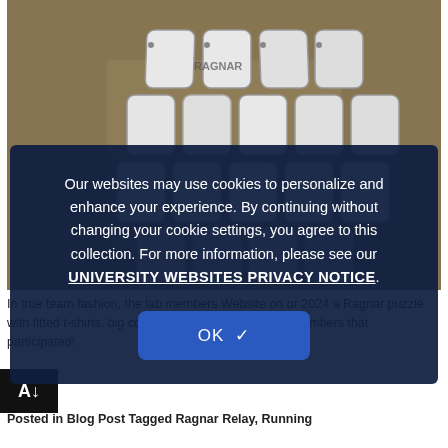[Figure (photo): Photo of white hexagonal Ragnar relay race bibs/tags laid out on dry grass/dirt ground]
In true team fashion, the lab members Website on or 2024 a Ragnar puzzle with fitted t-shirts. big congratulation to all the team members that participated!
Our websites may use cookies to personalize and enhance your experience. By continuing without changing your cookie settings, you agree to this collection. For more information, please see our UNIVERSITY WEBSITES PRIVACY NOTICE.
OK ✓
Posted in Blog Post Tagged Ragnar Relay, Running